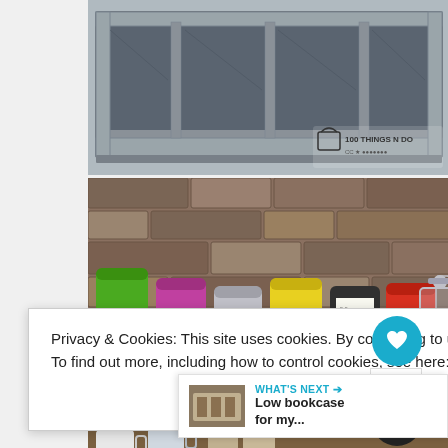[Figure (photo): Wooden grey painted cubby shelf organizer with 5 compartments, viewed from slightly below at an angle. Watermark: 100 THINGS N DO in bottom right corner.]
[Figure (photo): Row of colorful cylindrical canisters (green, purple/pink, silver, yellow, black, red) and a French press coffee maker on a shelf with stone tile backsplash background.]
Privacy & Cookies: This site uses cookies. By continuing to use this website, you agree to their use.
To find out more, including how to control cookies, see here: Cookie Policy
[Figure (photo): Partial bottom photo showing shelf with mugs and canisters, same stone backsplash.]